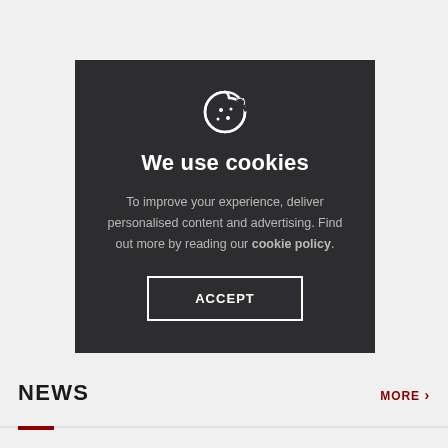[Figure (screenshot): Cookie consent modal dialog on dark background with cookie icon, title 'We use cookies', explanatory text, and Accept button]
We use cookies
To improve your experience, deliver personalised content and advertising. Find out more by reading our cookie policy.
ACCEPT
NEWS
MORE >